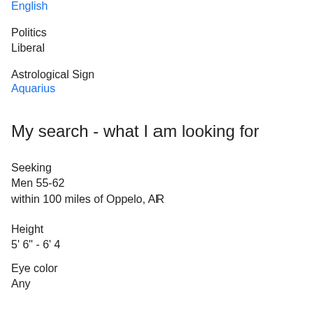English
Politics
Liberal
Astrological Sign
Aquarius
My search - what I am looking for
Seeking
Men 55-62
within 100 miles of Oppelo, AR
Height
5' 6" - 6' 4
Eye color
Any
Hair color
Any
Body type